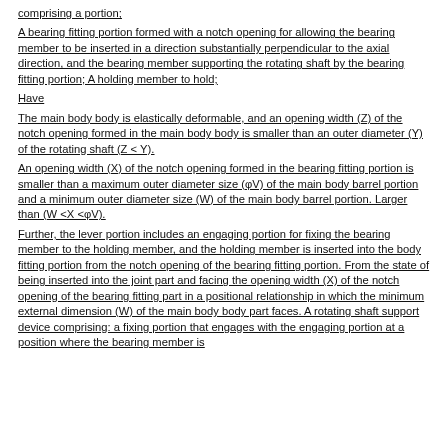comprising a portion;
A bearing fitting portion formed with a notch opening for allowing the bearing member to be inserted in a direction substantially perpendicular to the axial direction, and the bearing member supporting the rotating shaft by the bearing fitting portion; A holding member to hold;
Have
The main body body is elastically deformable, and an opening width (Z) of the notch opening formed in the main body body is smaller than an outer diameter (Y) of the rotating shaft (Z < Y).
An opening width (X) of the notch opening formed in the bearing fitting portion is smaller than a maximum outer diameter size (φV) of the main body barrel portion and a minimum outer diameter size (W) of the main body barrel portion. Larger than (W <X <φV).
Further, the lever portion includes an engaging portion for fixing the bearing member to the holding member, and the holding member is inserted into the body fitting portion from the notch opening of the bearing fitting portion. From the state of being inserted into the joint part and facing the opening width (X) of the notch opening of the bearing fitting part in a positional relationship in which the minimum external dimension (W) of the main body body part faces. A rotating shaft support device comprising: a fixing portion that engages with the engaging portion at a position where the bearing member is